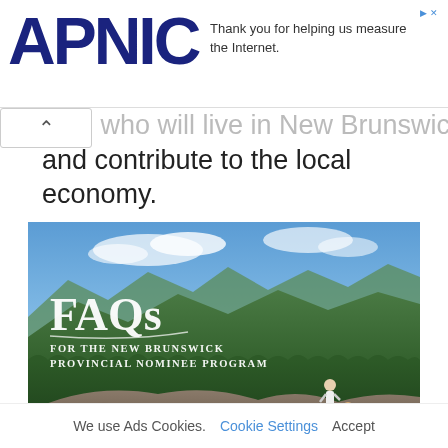[Figure (logo): APNIC logo in dark navy blue bold text with advertisement text: 'Thank you for helping us measure the Internet.']
kers who will live in New Brunswick and contribute to the local economy.
[Figure (photo): Scenic landscape photo showing two people sitting on rocky mountain top overlooking vast forest and river valley with blue sky. Text overlay reads: 'FAQs FOR THE NEW BRUNSWICK PROVINCIAL NOMINEE PROGRAM']
The NBPNP accepts applications under
We use Ads Cookies.   Cookie Settings   Accept